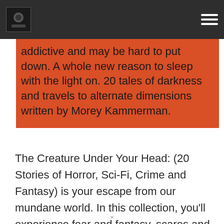addictive and may be hard to put down. A whole new reason to sleep with the light on. 20 tales of darkness and travels to alternate dimensions written by Morey Kammerman.
The Creature Under Your Head: (20 Stories of Horror, Sci-Fi, Crime and Fantasy) is your escape from our mundane world. In this collection, you'll experience fear and fantasy, scares and suspense, science fiction and terror taking you away to new realms of possibility. Here is your open invitation to other worlds. An entrance to past and future realities. The Creature Under Your Head will scare